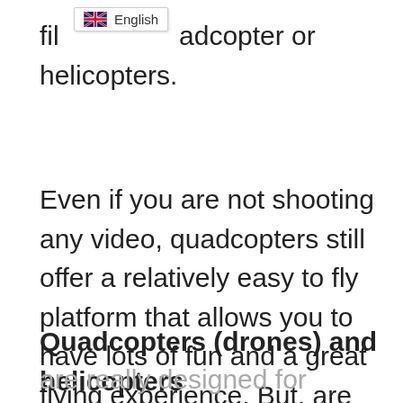fil… [quadcopter or helicopters.
Even if you are not shooting any video, quadcopters still offer a relatively easy to fly platform that allows you to have lots of fun and a great flying experience. But, are quadcopters better than helicopters?
Quadcopters (drones) and helicopters
are really designed for different people. Quadcopters have a variety of